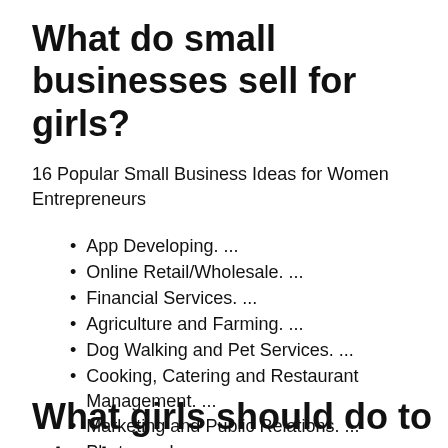What do small businesses sell for girls?
16 Popular Small Business Ideas for Women Entrepreneurs
App Developing. ...
Online Retail/Wholesale. ...
Financial Services. ...
Agriculture and Farming. ...
Dog Walking and Pet Services. ...
Cooking, Catering and Restaurant Management. ...
Marketing and Public Relations. ...
Photography.
What girls should do to start